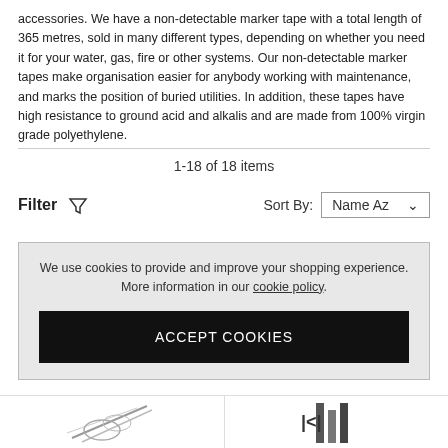accessories. We have a non-detectable marker tape with a total length of 365 metres, sold in many different types, depending on whether you need it for your water, gas, fire or other systems. Our non-detectable marker tapes make organisation easier for anybody working with maintenance, and marks the position of buried utilities. In addition, these tapes have high resistance to ground acid and alkalis and are made from 100% virgin grade polyethylene.
1-18 of 18 items
Filter  Sort By: Name Az
We use cookies to provide and improve your shopping experience. More information in our cookie policy.
ACCEPT COOKIES
[Figure (photo): Bottom strip showing partial product images on left and right]